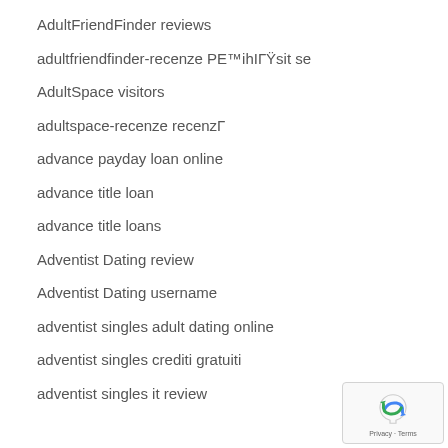AdultFriendFinder reviews
adultfriendfinder-recenze PE™ihIГŸsit se
AdultSpace visitors
adultspace-recenze recenzГ
advance payday loan online
advance title loan
advance title loans
Adventist Dating review
Adventist Dating username
adventist singles adult dating online
adventist singles crediti gratuiti
adventist singles it review